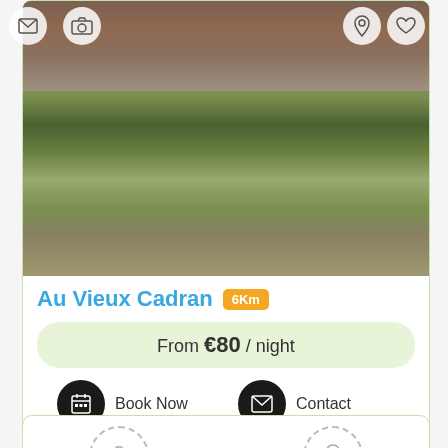[Figure (photo): Half-timbered French country house with garden, pond, and lush greenery]
Au Vieux Cadran 6Km
From €80 / night
Book Now
Contact
[Figure (other): Second listing card (partial), showing dashed camera and location icons]